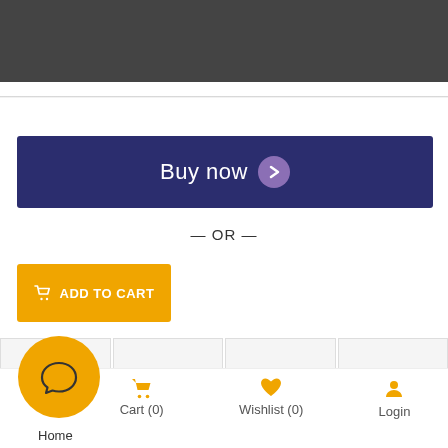[Figure (screenshot): Dark grey header navigation bar at top of e-commerce page]
[Figure (screenshot): Buy now button - dark navy blue with purple chevron circle icon]
— OR —
[Figure (screenshot): Yellow ADD TO CART button with shopping cart icon]
[Figure (screenshot): Contact us speech bubble tooltip with heart wishlist icon]
[Figure (screenshot): Yellow scroll-to-top circular button with upward chevron]
[Figure (screenshot): Bottom navigation bar with Home (chat bubble), Cart (0), Wishlist (0), Login icons]
Home   Cart (0)   Wishlist (0)   Login